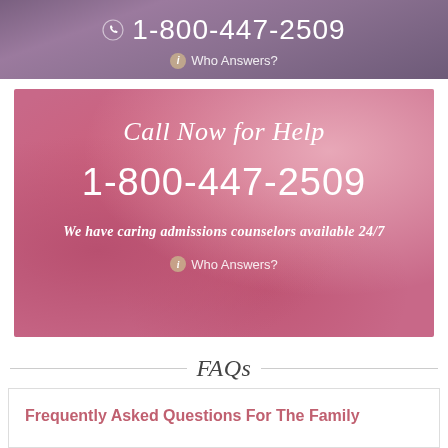1-800-447-2509 — Who Answers?
[Figure (infographic): Pink watercolor banner with 'Call Now for Help' in italic script, phone number 1-800-447-2509 in large white text, 'We have caring admissions counselors available 24/7' and 'Who Answers?' link]
FAQs
Frequently Asked Questions For The Family
Success Stories